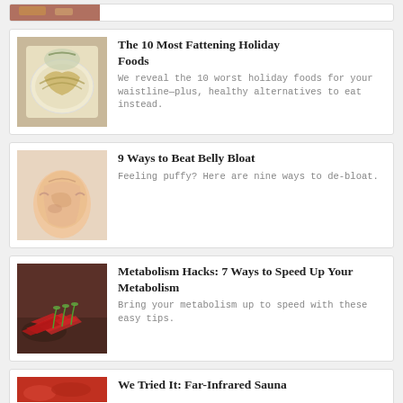[Figure (photo): Partial view of a food dish, cut off at top]
The 10 Most Fattening Holiday Foods
We reveal the 10 worst holiday foods for your waistline—plus, healthy alternatives to eat instead.
[Figure (photo): Person holding their belly/stomach area]
9 Ways to Beat Belly Bloat
Feeling puffy? Here are nine ways to de-bloat.
[Figure (photo): Red chili peppers on a wooden surface]
Metabolism Hacks: 7 Ways to Speed Up Your Metabolism
Bring your metabolism up to speed with these easy tips.
We Tried It: Far-Infrared Sauna